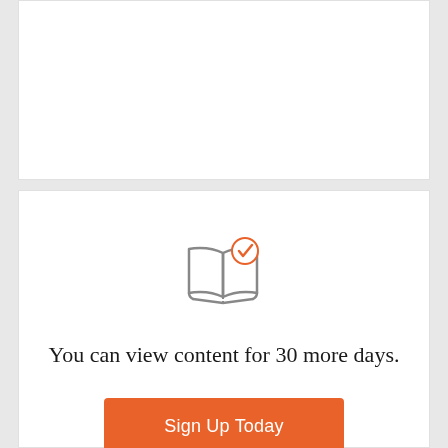[Figure (illustration): Open book icon with an orange checkmark badge in the upper right corner]
You can view content for 30 more days.
Sign Up Today